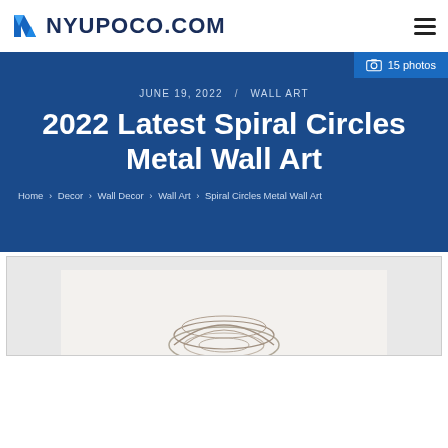NYUPOCO.COM
JUNE 19, 2022 / WALL ART
2022 Latest Spiral Circles Metal Wall Art
Home › Decor › Wall Decor › Wall Art › Spiral Circles Metal Wall Art
[Figure (photo): Partial view of a spiral circles metal wall art product image on light background]